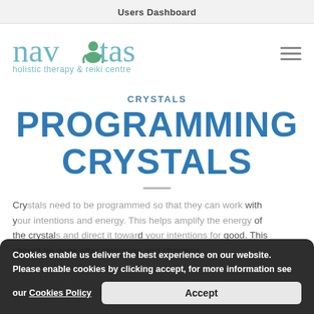Users Dashboard
[Figure (logo): Navitas holistic therapy & reiki centre logo with teal/green meditating figure]
CRYSTALS
PROGRAMMING CRYSTALS
Crystals need to be programmed... work with you... of the crystals... good. This should be done after cleansing and charging.
Cookies enable us deliver the best experience on our website. Please enable cookies by clicking accept, for more information see our Cookies Policy